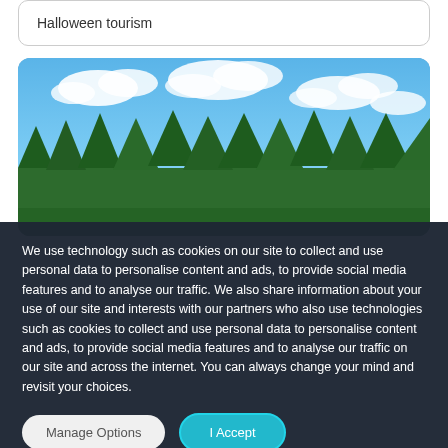Halloween tourism
[Figure (photo): Outdoor scenic photo showing a row of green conifer trees under a blue sky with white clouds]
We use technology such as cookies on our site to collect and use personal data to personalise content and ads, to provide social media features and to analyse our traffic. We also share information about your use of our site and interests with our partners who also use technologies such as cookies to collect and use personal data to personalise content and ads, to provide social media features and to analyse our traffic on our site and across the internet. You can always change your mind and revisit your choices.
Manage Options
I Accept